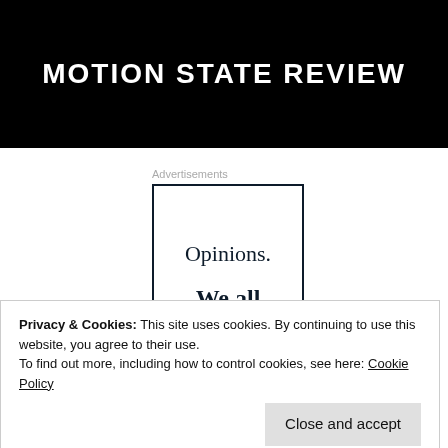MOTION STATE REVIEW
Advertisements
[Figure (other): Advertisement box with text: Opinions. We all have them.]
Privacy & Cookies: This site uses cookies. By continuing to use this website, you agree to their use.
To find out more, including how to control cookies, see here: Cookie Policy
Close and accept